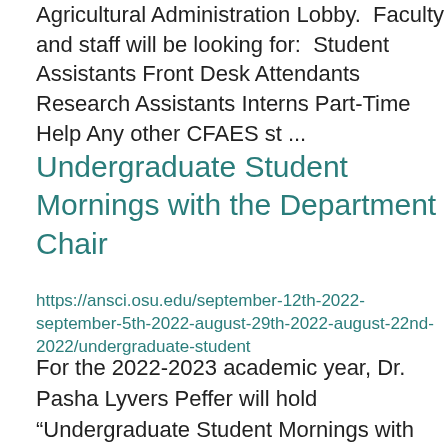Agricultural Administration Lobby.  Faculty and staff will be looking for:  Student Assistants Front Desk Attendants Research Assistants Interns Part-Time Help Any other CFAES st ...
Undergraduate Student Mornings with the Department Chair
https://ansci.osu.edu/september-12th-2022-september-5th-2022-august-29th-2022-august-22nd-2022/undergraduate-student
For the 2022-2023 academic year, Dr. Pasha Lyvers Peffer will hold “Undergraduate Student Mornings with the Department Chair” where undergraduate students are invited to join her for coffee/tea and